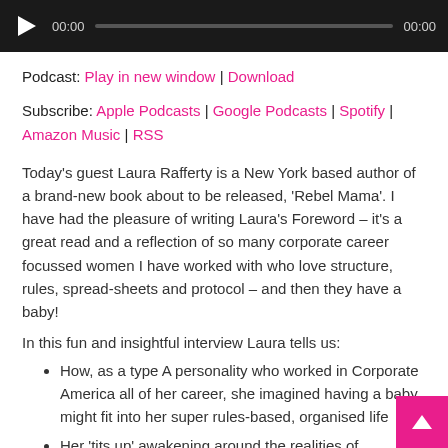[Figure (other): Audio player bar with play button, timestamp 00:00, progress track, and end time 00:00 on dark background]
Podcast: Play in new window | Download
Subscribe: Apple Podcasts | Google Podcasts | Spotify | Amazon Music | RSS
Today's guest Laura Rafferty is a New York based author of a brand-new book about to be released, 'Rebel Mama'. I have had the pleasure of writing Laura's Foreword – it's a great read and a reflection of so many corporate career focussed women I have worked with who love structure, rules, spread-sheets and protocol – and then they have a baby!
In this fun and insightful interview Laura tells us:
How, as a type A personality who worked in Corporate America all of her career, she imagined having a baby might fit into her super rules-based, organised life
Her 'tits up' awakening around the realities of pregnancy and having a baby, to 'surrender', letting go of control and becoming a 'rebel Mama.'